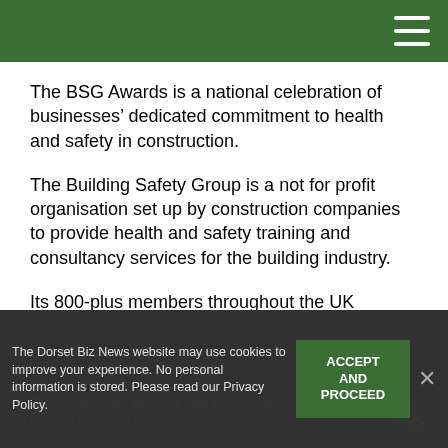The BSG Awards is a national celebration of businesses’ dedicated commitment to health and safety in construction.
The Building Safety Group is a not for profit organisation set up by construction companies to provide health and safety training and consultancy services for the building industry.
Its 800-plus members throughout the UK operate across 3,500 workplaces.
This construction award is help at the Avoncroft Museum of Historic Buildings in Worcestershire.
The Dorset Biz News website may use cookies to improve your experience. No personal information is stored. Please read our Privacy Policy.